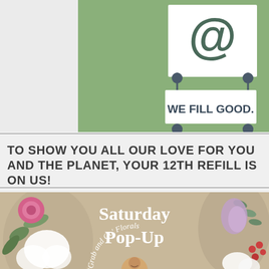[Figure (illustration): Promotional graphic with green background showing an '@' symbol above a banner sign reading 'WE FILL GOOD.' with decorative spoon/ladle ornaments on pins connecting two signs]
TO SHOW YOU ALL OUR LOVE FOR YOU AND THE PLANET, YOUR 12TH REFILL IS ON US!
[Figure (photo): Photo of Saturday Pop-Up 'Grab and Go' Florals event with flowers (pink rose, white gardenia, eucalyptus, berries) and a circular portrait of a smiling woman holding greenery]